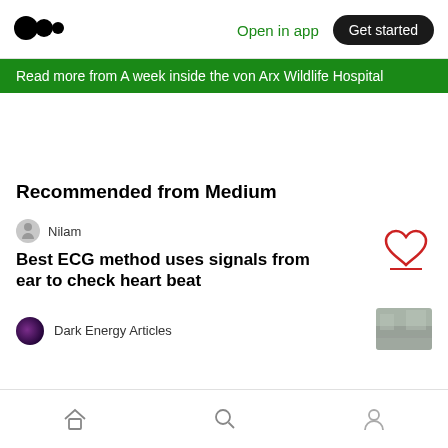[Figure (logo): Medium logo - two overlapping black circles]
Open in app
Get started
Read more from A week inside the von Arx Wildlife Hospital
Recommended from Medium
Nilam
Best ECG method uses signals from ear to check heart beat
[Figure (illustration): Heart/clap icon in red outline]
Dark Energy Articles
[Figure (photo): Small thumbnail image, landscape/nature scene]
[Figure (illustration): Bottom navigation bar with home, search, and profile icons]